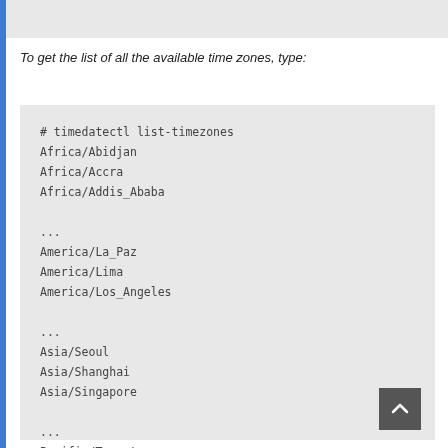To get the list of all the available time zones, type:
[Figure (screenshot): Code block showing terminal command '# timedatectl list-timezones' followed by a list of time zones: Africa/Abidjan, Africa/Accra, Africa/Addis_Ababa, ..., America/La_Paz, America/Lima, America/Los_Angeles, ..., Asia/Seoul, Asia/Shanghai, Asia/Singapore, ..., Pacific/Tongatapu, Pacific/Wake]